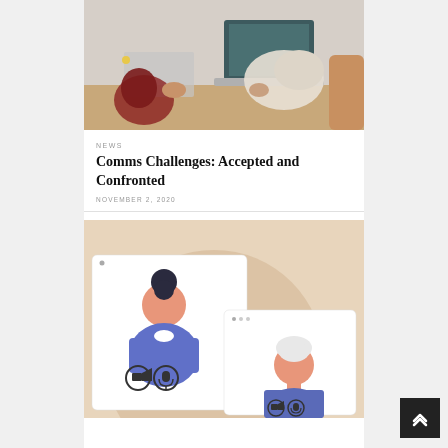[Figure (photo): Photo of people at a table with laptops, hands visible, collaborative meeting scene]
NEWS
Comms Challenges: Accepted and Confronted
NOVEMBER 2, 2020
[Figure (illustration): Illustration of two people on a video call shown in browser-style windows on a warm beige background, each with camera and microphone icons]